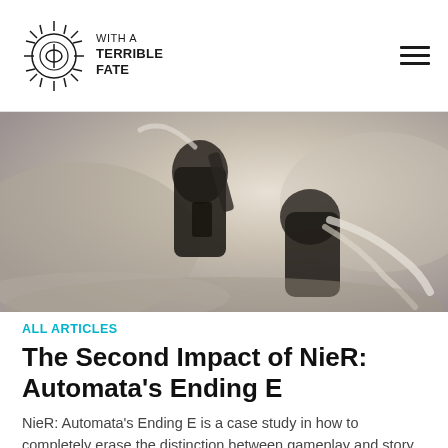WITH A TERRIBLE FATE
[Figure (illustration): Artwork showing two characters in dark armor from NieR: Automata, grappling against a misty grey background]
ALL ARTICLES
The Second Impact of NieR: Automata's Ending E
NieR: Automata's Ending E is a case study in how to completely erase the distinction between gameplay and story.